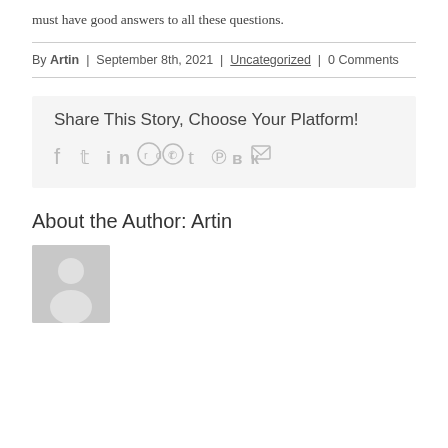must have good answers to all these questions.
By Artin | September 8th, 2021 | Uncategorized | 0 Comments
Share This Story, Choose Your Platform!
[Figure (other): Social media sharing icons: facebook, twitter, linkedin, reddit, whatsapp, tumblr, pinterest, vk, email]
About the Author: Artin
[Figure (photo): Generic user avatar placeholder image showing a silhouette of a person on gray background]